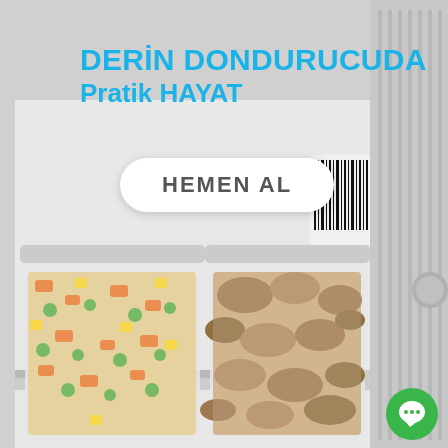[Figure (photo): Freezer interior with two transparent plastic containers: left one containing mixed frozen vegetables (carrots, peas, corn), right one containing frozen mushrooms. Barcode visible on freezer door compartment at top.]
DERİN DONDURUCUDA Pratik HAYAT
HEMEN AL